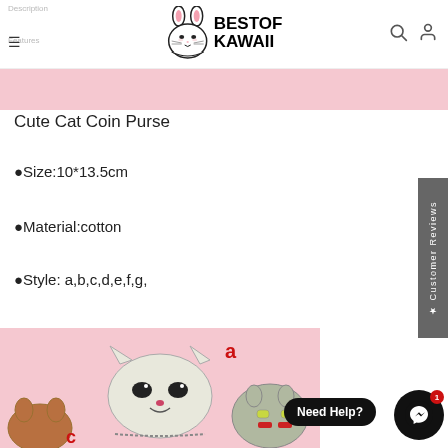Description | Features | BEST OF KAWAII
Cute Cat Coin Purse
●Size:10*13.5cm
●Material:cotton
●Style: a,b,c,d,e,f,g,
[Figure (photo): Cute cat coin purse product photos showing styles a and c]